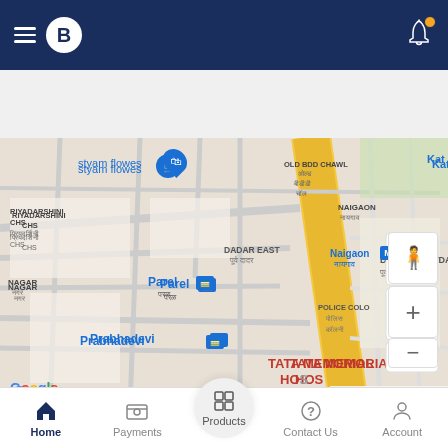[Figure (screenshot): Mobile app top navigation bar with dark navy background, hamburger menu, circular logo with letter B, and bell notification icon with orange dot]
[Figure (screenshot): Search bar with placeholder text 'Search here' and search button on navy background]
[Figure (map): Google Maps screenshot showing Mumbai area with locations: styam flowes, Riyadarshini CHS, Nagar, Parel station, Prabhadevi station, Dadar East, Old BDD Chawl, Naigaon, Police Colony, Tata Memorial Hospital. Map data 2022, with zoom controls and street view icon.]
Frequently Asked Questions
[Figure (screenshot): Bottom navigation bar with Home (active), Payments, Products (highlighted circle), Contact Us, and Account icons]